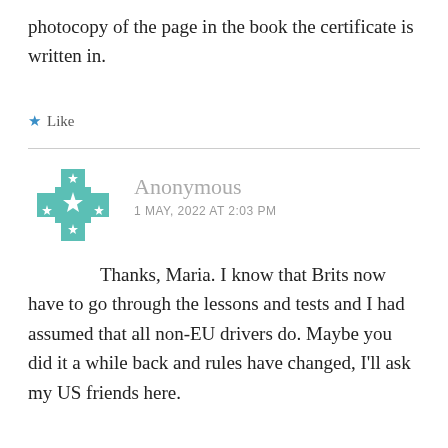photocopy of the page in the book the certificate is written in.
Like
Anonymous
1 MAY, 2022 AT 2:03 PM
Thanks, Maria. I know that Brits now have to go through the lessons and tests and I had assumed that all non-EU drivers do. Maybe you did it a while back and rules have changed, I'll ask my US friends here.